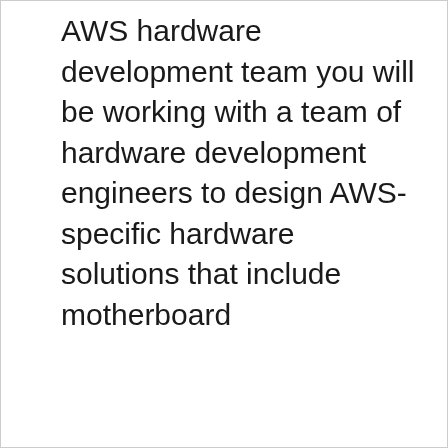AWS hardware development team you will be working with a team of hardware development engineers to design AWS-specific hardware solutions that include motherboard